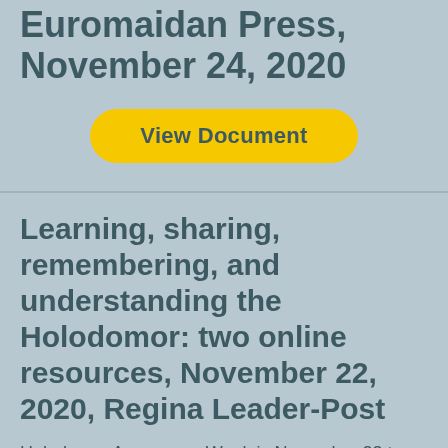Euromaidan Press, November 24, 2020
View Document
Learning, sharing, remembering, and understanding the Holodomor: two online resources, November 22, 2020, Regina Leader-Post
Holodomor Awareness Week is November 23 to 29, a time to